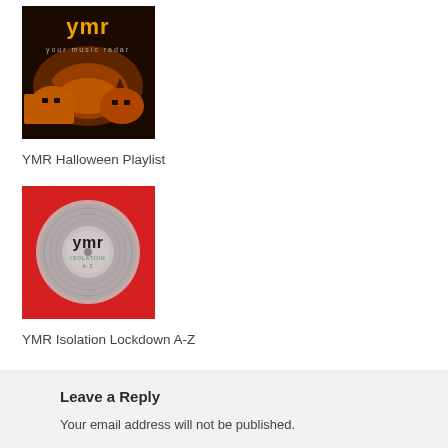[Figure (photo): YMR Halloween themed image with jack-o-lanterns and YMR logo on dark background]
YMR Halloween Playlist
[Figure (photo): YMR Isolation Lockdown A-Z album/playlist cover with YMR logo on red background]
YMR Isolation Lockdown A-Z
Leave a Reply
Your email address will not be published.